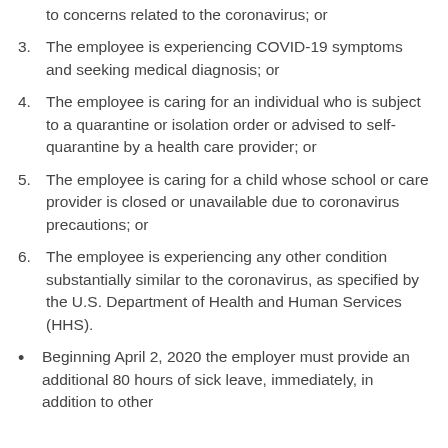(partial/top) to concerns related to the coronavirus; or
3. The employee is experiencing COVID-19 symptoms and seeking medical diagnosis; or
4. The employee is caring for an individual who is subject to a quarantine or isolation order or advised to self-quarantine by a health care provider; or
5. The employee is caring for a child whose school or care provider is closed or unavailable due to coronavirus precautions; or
6. The employee is experiencing any other condition substantially similar to the coronavirus, as specified by the U.S. Department of Health and Human Services (HHS).
Beginning April 2, 2020 the employer must provide an additional 80 hours of sick leave, immediately, in addition to other